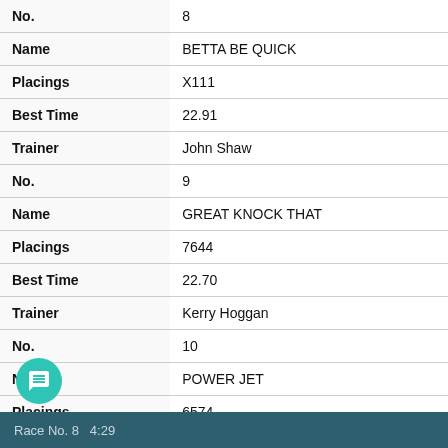| Field | Value |
| --- | --- |
| No. | 8 |
| Name | BETTA BE QUICK |
| Placings | X111 |
| Best Time | 22.91 |
| Trainer | John Shaw |
| No. | 9 |
| Name | GREAT KNOCK THAT |
| Placings | 7644 |
| Best Time | 22.70 |
| Trainer | Kerry Hoggan |
| No. | 10 |
| Name | POWER JET |
| Placings | 6574 |
| Best Time | 22.70 |
| Trainer | Darren Titmarsh |
Race No. 8   4:29